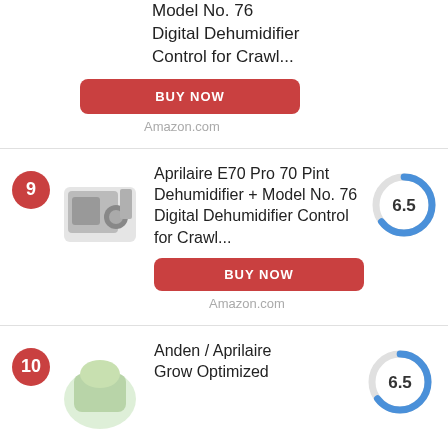Model No. 76
Digital Dehumidifier Control for Crawl...
BUY NOW
Amazon.com
Aprilaire E70 Pro 70 Pint Dehumidifier + Model No. 76 Digital Dehumidifier Control for Crawl...
[Figure (donut-chart): Score 6.5]
BUY NOW
Amazon.com
Anden / Aprilaire Grow Optimized
[Figure (donut-chart): Score 6.5]